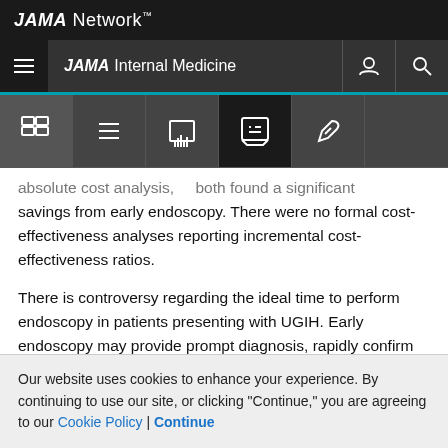JAMA Network
JAMA Internal Medicine
absolute cost analysis, both found a significant savings from early endoscopy. There were no formal cost-effectiveness analyses reporting incremental cost-effectiveness ratios.
There is controversy regarding the ideal time to perform endoscopy in patients presenting with UGIH. Early endoscopy may provide prompt diagnosis, rapidly confirm clinical suspicion, and serve as an aid to decision making
Our website uses cookies to enhance your experience. By continuing to use our site, or clicking "Continue," you are agreeing to our Cookie Policy | Continue